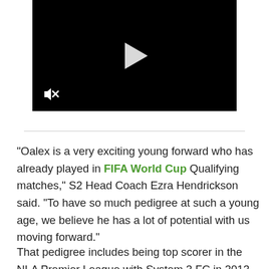[Figure (screenshot): Black video player with white play button in center and mute icon in bottom-left corner]
"Oalex is a very exciting young forward who has already played in FIFA World Cup Qualifying matches," S2 Head Coach Ezra Hendrickson said. "To have so much pedigree at such a young age, we believe he has a lot of potential with us moving forward."
That pedigree includes being top scorer in the NLA Premier League with System 3 FC in 2013 and